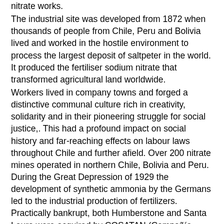nitrate works. The industrial site was developed from 1872 when thousands of people from Chile, Peru and Bolivia lived and worked in the hostile environment to process the largest deposit of saltpeter in the world. It produced the fertiliser sodium nitrate that transformed agricultural land worldwide. Workers lived in company towns and forged a distinctive communal culture rich in creativity,  solidarity and in their pioneering struggle for social justice,. This had a profound impact on social history and far-reaching effects on labour laws throughout Chile and further afield. Over 200 nitrate mines operated in northern Chile, Bolivia and Peru. During the Great Depression of 1929 the development of synthetic ammonia by the Germans led to the industrial production of fertilizers. Practically bankrupt, both Humberstone and Santa Laura were acquired by COSATAN (Compañía Salitrera de Tarapacá y Antofagasta) in 1934. The company tried to produce a competitive natural saltpeter by modernizing Humberstone, which led to its becoming the most successful saltpeter works in 1940. Both works were abandoned in 1960 and in 1970, after becoming ghost towns, they were declared national monuments and opened to tourism. In 2005 they were declared a World Heritage Site by UNESCO.